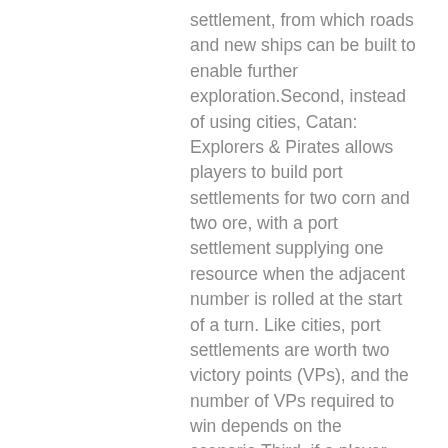settlement, from which roads and new ships can be built to enable further exploration.Second, instead of using cities, Catan: Explorers & Pirates allows players to build port settlements for two corn and two ore, with a port settlement supplying one resource when the adjacent number is rolled at the start of a turn. Like cities, port settlements are worth two victory points (VPs), and the number of VPs required to win depends on the scenario.Third, if a player receives no resources during the production roll (other than on a roll of 7), she receives one gold in compensation. Two gold can be traded with the bank for a resource of the player's